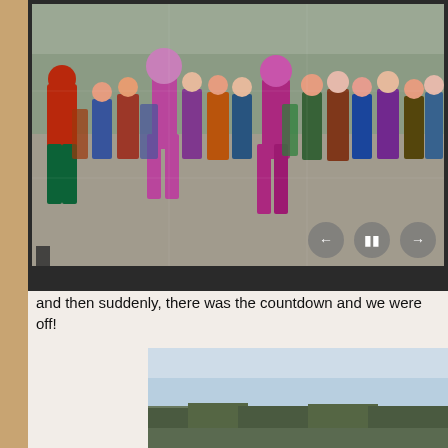[Figure (screenshot): A slideshow/media player showing a large crowd of people in colorful costumes including plaid/tartan outfits gathered outdoors. Navigation controls (back, pause, forward) are visible at the bottom right of the player.]
and then suddenly, there was the countdown and we were off!
[Figure (photo): A landscape photo showing a wide open field under a blue sky with trees in the background, partially visible at the bottom of the page.]